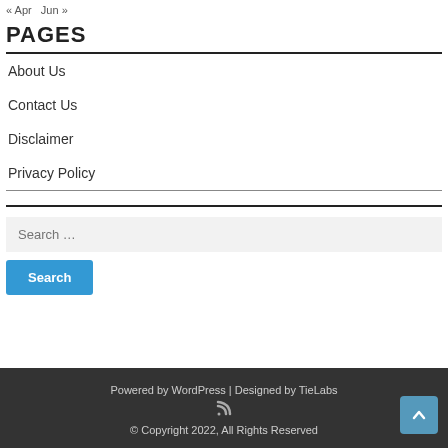« Apr  Jun »
PAGES
About Us
Contact Us
Disclaimer
Privacy Policy
Search …
Search
Powered by WordPress | Designed by TieLabs
© Copyright 2022, All Rights Reserved